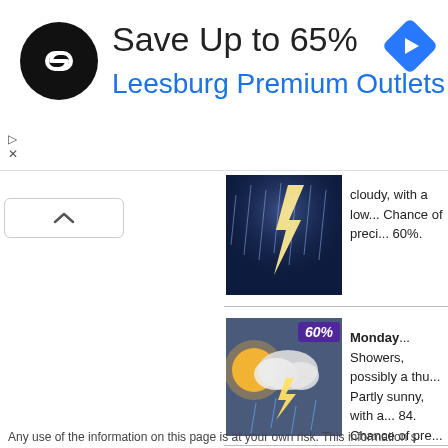[Figure (screenshot): Advertisement banner: black circular logo with white chain-link icon, text 'Save Up to 65% Leesburg Premium Outlets', blue diamond navigation arrow icon on right]
[Figure (photo): Stormy night weather image with lightning]
cloudy, with a low... Chance of preci... 60%.
[Figure (photo): Monday weather image: partly cloudy with sun and lightning/showers, 60% precipitation badge in purple]
Monday... Showers, possibly a thu... Partly sunny, with a... 84. Chance of pre... 60%.
Any use of the information on this page is at your own risk. This information s